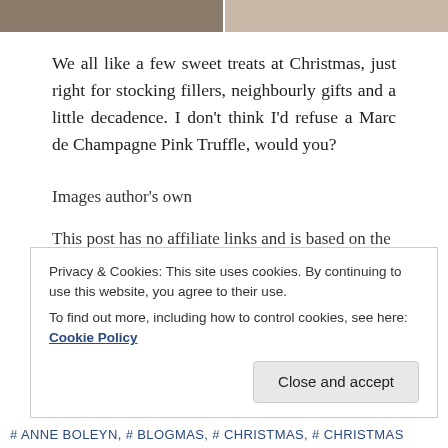[Figure (photo): Two side-by-side cropped photographs at top of page]
We all like a few sweet treats at Christmas, just right for stocking fillers, neighbourly gifts and a little decadence. I don't think I'd refuse a Marc de Champagne Pink Truffle, would you?
Images author's own
This post has no affiliate links and is based on the
Privacy & Cookies: This site uses cookies. By continuing to use this website, you agree to their use.
To find out more, including how to control cookies, see here: Cookie Policy
# ANNE BOLEYN, # BLOGMAS, # CHRISTMAS, # CHRISTMAS